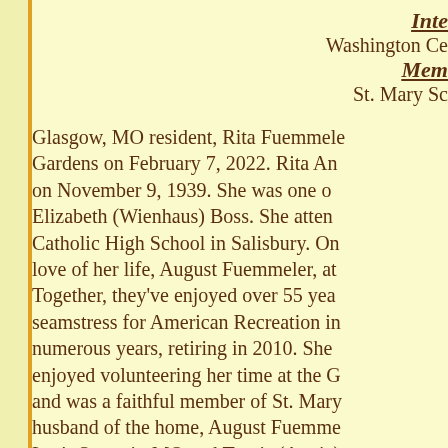Inte[rment]
Washington Ce[metery]
Mem[orial]
St. Mary Sc[hool]
Glasgow, MO resident, Rita Fuemmele[r] Gardens on February 7, 2022. Rita An[n] on November 9, 1939. She was one o[f] Elizabeth (Wienhaus) Boss. She atten[ded] Catholic High School in Salisbury. On [the] love of her life, August Fuemmeler, at [the] Together, they've enjoyed over 55 yea[rs] seamstress for American Recreation in[,] numerous years, retiring in 2010. She [also] enjoyed volunteering her time at the G[lasgow] and was a faithful member of St. Mary[.] husband of the home, August Fuemme[ler;] Lee's Summit, MO and Travis (Angie) [;] granddaughter, Lita Fuemmeler; step-[] three brothers, Clarence Boss, Raymo[nd] Boss all of Salisbury, MO; two sisters[...]